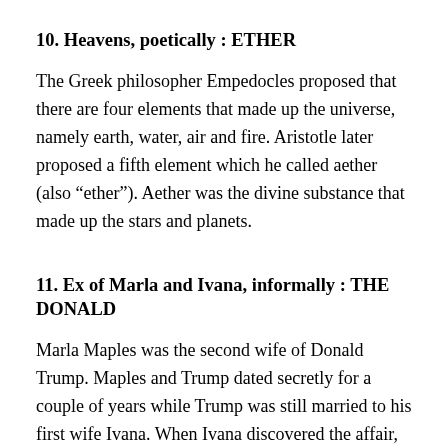10. Heavens, poetically : ETHER
The Greek philosopher Empedocles proposed that there are four elements that made up the universe, namely earth, water, air and fire. Aristotle later proposed a fifth element which he called aether (also “ether”). Aether was the divine substance that made up the stars and planets.
11. Ex of Marla and Ivana, informally : THE DONALD
Marla Maples was the second wife of Donald Trump. Maples and Trump dated secretly for a couple of years while Trump was still married to his first wife Ivana. When Ivana discovered the affair, she filed for divorce, and eventually Donald and Marla married. It was Trump’s turn to file for divorce